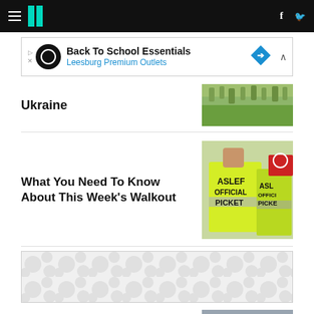HuffPost navigation bar with logo, hamburger menu, Facebook and Twitter icons
[Figure (screenshot): Advertisement banner: Back To School Essentials - Leesburg Premium Outlets]
Ukraine
[Figure (photo): Thumbnail photo of a grassy field related to Ukraine article]
What You Need To Know About This Week's Walkout
[Figure (photo): Photo of people wearing yellow ASLEF OFFICIAL PICKET hi-vis vests]
[Figure (other): Advertisement placeholder with repeating pattern]
[Figure (photo): Partial thumbnail photo at the bottom of the page]